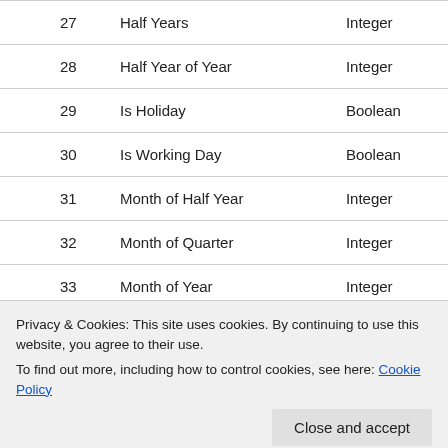| # | Name | Type | Length |
| --- | --- | --- | --- |
| 27 | Half Years | Integer |  |
| 28 | Half Year of Year | Integer |  |
| 29 | Is Holiday | Boolean |  |
| 30 | Is Working Day | Boolean |  |
| 31 | Month of Half Year | Integer |  |
| 32 | Month of Quarter | Integer |  |
| 33 | Month of Year | Integer |  |
| 34 | Quarters of Half Year | Integer |  |
| 41 | Half Year Name | Text | 20 |
Privacy & Cookies: This site uses cookies. By continuing to use this website, you agree to their use.
To find out more, including how to control cookies, see here: Cookie Policy